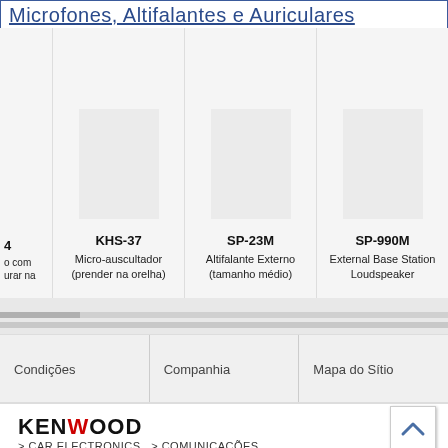Microfones, Altifalantes e Auriculares
[Figure (other): Product grid showing KHS-37 Micro-auscultador (prender na orelha), SP-23M Altifalante Externo (tamanho médio), SP-990M External Base Station Loudspeaker, and a partially visible product]
Condições
Companhia
Mapa do Sítio
[Figure (logo): KENWOOD logo]
> CAR ELECTRONICS  > COMUNICAÇÕES
© 2022 JVCKENWOOD Corporation